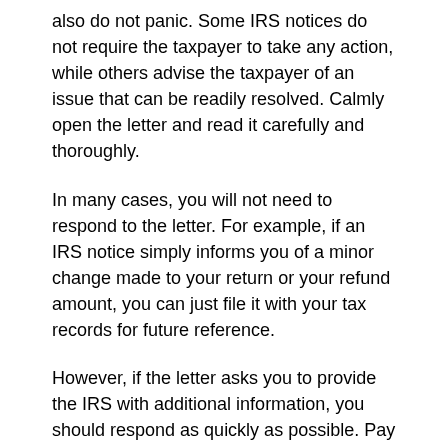also do not panic. Some IRS notices do not require the taxpayer to take any action, while others advise the taxpayer of an issue that can be readily resolved. Calmly open the letter and read it carefully and thoroughly.
In many cases, you will not need to respond to the letter. For example, if an IRS notice simply informs you of a minor change made to your return or your refund amount, you can just file it with your tax records for future reference.
However, if the letter asks you to provide the IRS with additional information, you should respond as quickly as possible. Pay special attention to whether the notice includes a deadline to respond. Taxpayers who fail to reply to an IRS letter by a specified deadline may face penalties or forfeit their appeal rights.
If you owe tax, pay the amount due as soon as possible to minimize penalties and interest charges. If you cannot pay